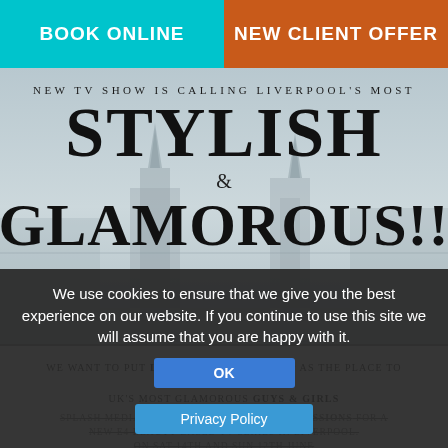BOOK ONLINE | NEW CLIENT OFFER
NEW TV SHOW IS CALLING LIVERPOOL'S MOST STYLISH & GLAMOROUS!!
We want to put LIVERPOOL on the map as the place to meet the UK's most glamorous GUYS & GIRLS
SPLASH MEDIA WILL BE HOLDING CASTING SESSIONS FOR A NEW E4 BEAUTY BASED TV SERIES IN LIVERPOOL ON SAT 14TH AND SUN 12TH JUNE
We're interested in meeting characters on the Liverpool scene - Boutique owners, club owners, models, socialites, IT girls & boys - basically the movers and shakers of the Liverpool elite.
We know you have star quality - it's about time the rest of the...
If you are over 18, party hard and play even harder, are outgoing and bubbly guys & girls we want to meet you!
We use cookies to ensure that we give you the best experience on our website. If you continue to use this site we will assume that you are happy with it.
OK
Privacy Policy